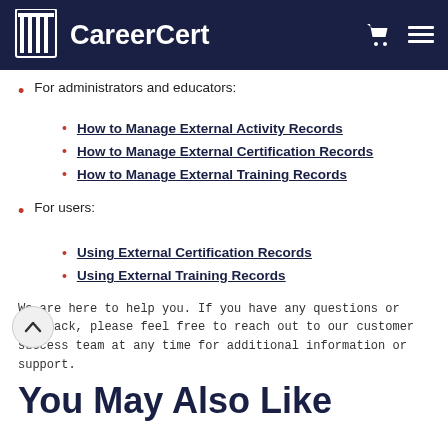CareerCert
For administrators and educators:
How to Manage External Activity Records
How to Manage External Certification Records
How to Manage External Training Records
For users:
Using External Certification Records
Using External Training Records
We are here to help you. If you have any questions or feedback, please feel free to reach out to our customer success team at any time for additional information or support.
You May Also Like